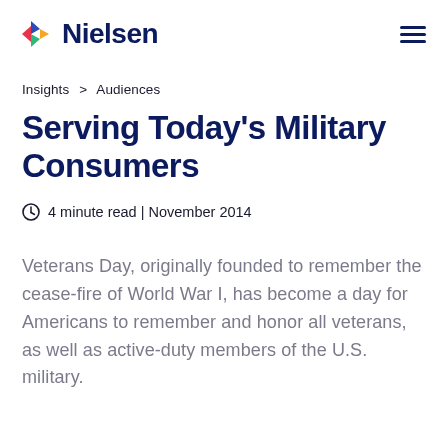Nielsen
Insights > Audiences
Serving Today's Military Consumers
4 minute read | November 2014
Veterans Day, originally founded to remember the cease-fire of World War I, has become a day for Americans to remember and honor all veterans, as well as active-duty members of the U.S. military.